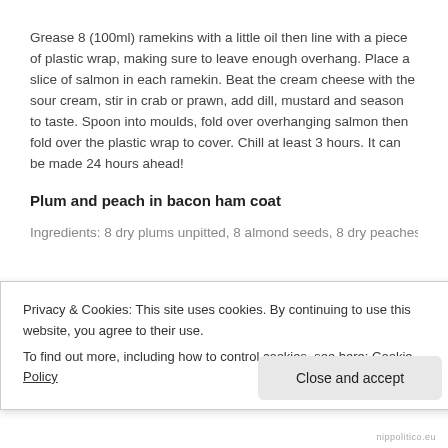Grease 8 (100ml) ramekins with a little oil then line with a piece of plastic wrap, making sure to leave enough overhang. Place a slice of salmon in each ramekin. Beat the cream cheese with the sour cream, stir in crab or prawn, add dill, mustard and season to taste. Spoon into moulds, fold over overhanging salmon then fold over the plastic wrap to cover. Chill at least 3 hours. It can be made 24 hours ahead!
Plum and peach in bacon ham coat
Ingredients: 8 dry plums unpitted, 8 almond seeds, 8 dry peaches, 8
Privacy & Cookies: This site uses cookies. By continuing to use this website, you agree to their use.
To find out more, including how to control cookies, see here: Cookie Policy
nippolitico.eu